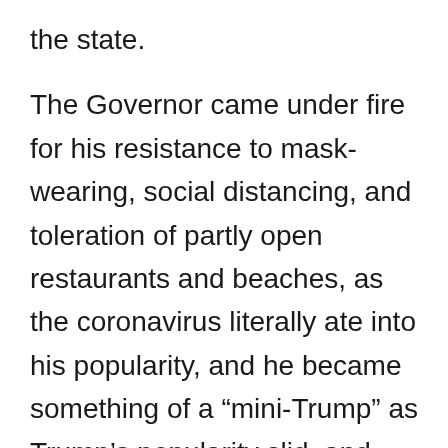the state.
The Governor came under fire for his resistance to mask-wearing, social distancing, and toleration of partly open restaurants and beaches, as the coronavirus literally ate into his popularity, and he became something of a “mini-Trump” as Trump’s popularity slid, and many questioned if his positions reflected political expediency and short-term gain, rather than Florida’s interest. But by May he was proclaiming “landmark legislation” banning “vaccine passports” in the state, boasting that